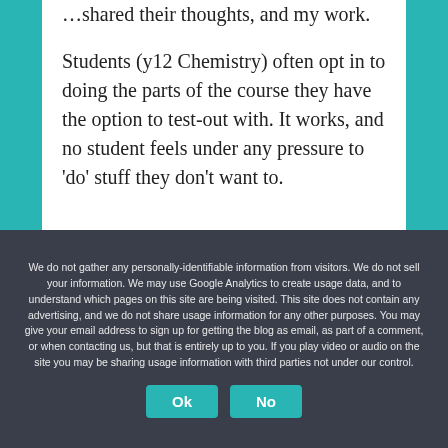…shared their thoughts, and my work.
Students (y12 Chemistry) often opt in to doing the parts of the course they have the option to test-out with. It works, and no student feels under any pressure to 'do' stuff they don't want to.
We do not gather any personally-identifiable information from visitors. We do not sell your information. We may use Google Analytics to create usage data, and to understand which pages on this site are being visited. This site does not contain any advertising, and we do not share usage information for any other purposes. You may give your email address to sign up for getting the blog as email, as part of a comment, or when contacting us, but that is entirely up to you. If you play video or audio on the site you may be sharing usage information with third parties not under our control.